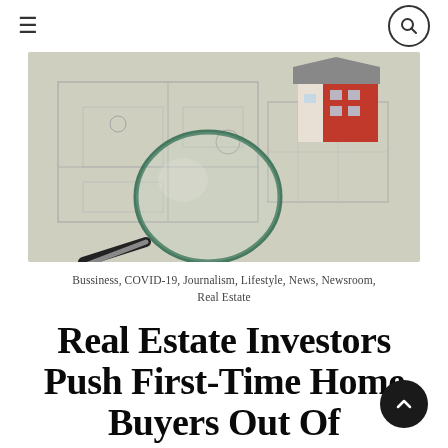≡  🔍
[Figure (photo): Architectural blueprints/floor plans laid flat on a table with a magnifying glass on top and a small model house (gray roof, red facade) in the background.]
Bussiness, COVID-19, Journalism, Lifestyle, News, Newsroom, Real Estate
Real Estate Investors Push First-Time Home Buyers Out Of